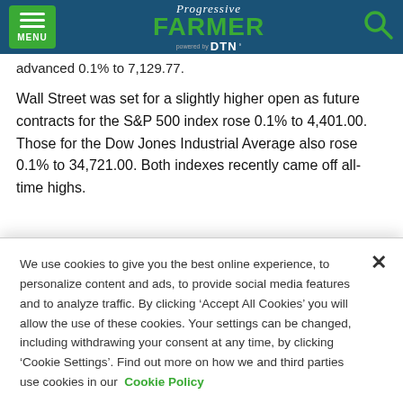Progressive Farmer powered by DTN
advanced 0.1% to 7,129.77.
Wall Street was set for a slightly higher open as future contracts for the S&P 500 index rose 0.1% to 4,401.00. Those for the Dow Jones Industrial Average also rose 0.1% to 34,721.00. Both indexes recently came off all-time highs.
We use cookies to give you the best online experience, to personalize content and ads, to provide social media features and to analyze traffic. By clicking ‘Accept All Cookies’ you will allow the use of these cookies. Your settings can be changed, including withdrawing your consent at any time, by clicking ‘Cookie Settings’. Find out more on how we and third parties use cookies in our Cookie Policy
Cookies Settings
Accept All Cookies